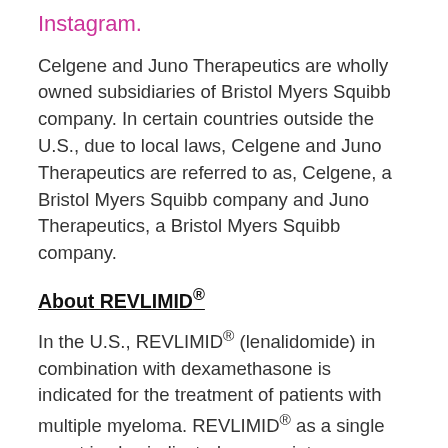Instagram.
Celgene and Juno Therapeutics are wholly owned subsidiaries of Bristol Myers Squibb company. In certain countries outside the U.S., due to local laws, Celgene and Juno Therapeutics are referred to as, Celgene, a Bristol Myers Squibb company and Juno Therapeutics, a Bristol Myers Squibb company.
About REVLIMID®
In the U.S., REVLIMID® (lenalidomide) in combination with dexamethasone is indicated for the treatment of patients with multiple myeloma. REVLIMID® as a single agent is also indicated as a maintenance therapy in patients with multiple myeloma following autologous hematopoietic stem cell transplant. REVLIMID® is indicated for patients